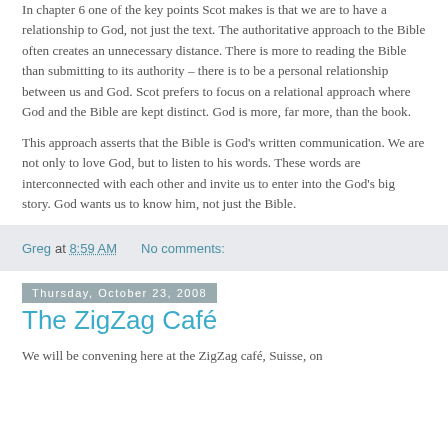In chapter 6 one of the key points Scot makes is that we are to have a relationship to God, not just the text. The authoritative approach to the Bible often creates an unnecessary distance. There is more to reading the Bible than submitting to its authority – there is to be a personal relationship between us and God. Scot prefers to focus on a relational approach where God and the Bible are kept distinct. God is more, far more, than the book.
This approach asserts that the Bible is God's written communication. We are not only to love God, but to listen to his words. These words are interconnected with each other and invite us to enter into the God's big story. God wants us to know him, not just the Bible.
Greg at 8:59 AM    No comments:
Thursday, October 23, 2008
The ZigZag Café
We will be convening here at the ZigZag café, Suisse, on